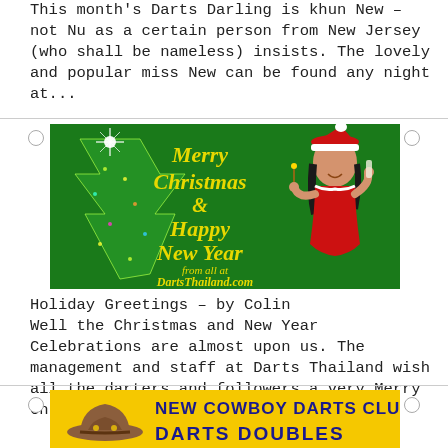This month's Darts Darling is khun New – not Nu as a certain person from New Jersey (who shall be nameless) insists. The lovely and popular miss New can be found any night at...
[Figure (illustration): A green Christmas card graphic with yellow and gold text 'Merry Christmas & Happy New Year from all at DartsThailand.com', featuring a glowing Christmas tree on the left and a cartoon woman in a red Santa outfit on the right.]
Holiday Greetings – by Colin
Well the Christmas and New Year Celebrations are almost upon us. The management and staff at Darts Thailand wish all the darters and followers a very Merry Christmas and a Happy New Year. If...
[Figure (illustration): A yellow banner graphic with a cartoon cowboy hat on the left and dark blue bold text reading 'NEW COWBOY DARTS CLUB' and partially visible 'DARTS DOUBLES' below it.]